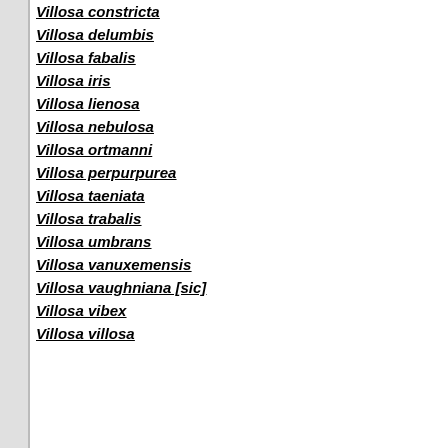Villosa constricta
Villosa delumbis
Villosa fabalis
Villosa iris
Villosa lienosa
Villosa nebulosa
Villosa ortmanni
Villosa perpurpurea
Villosa taeniata
Villosa trabalis
Villosa umbrans
Villosa vanuxemensis
Villosa vaughniana [sic]
Villosa vibex
Villosa villosa